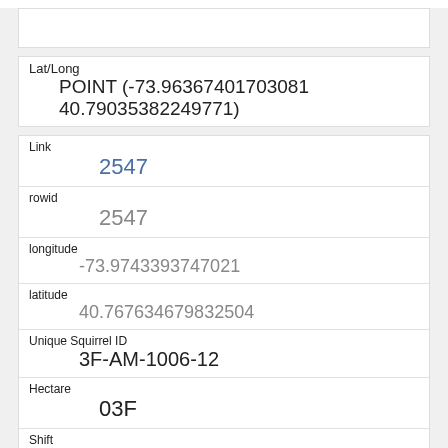| Field | Value |
| --- | --- |
| Lat/Long | POINT (-73.96367401703081 40.79035382249771) |
| Link | 2547 |
| rowid | 2547 |
| longitude | -73.9743393747021 |
| latitude | 40.767634679832504 |
| Unique Squirrel ID | 3F-AM-1006-12 |
| Hectare | 03F |
| Shift | AM |
| Date | 10062018 |